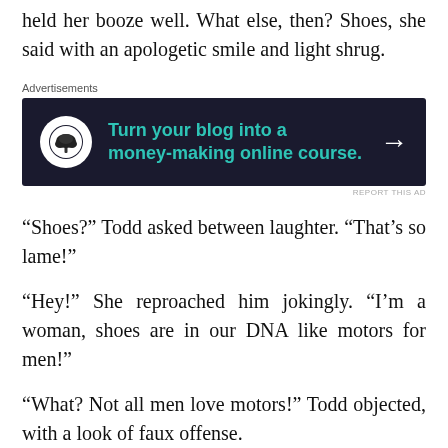held her booze well. What else, then? Shoes, she said with an apologetic smile and light shrug.
[Figure (other): Advertisement banner: dark background with teal text reading 'Turn your blog into a money-making online course.' with a tree/bonsai icon and arrow.]
“Shoes?” Todd asked between laughter. “That’s so lame!”
“Hey!” She reproached him jokingly. “I’m a woman, shoes are in our DNA like motors for men!”
“What? Not all men love motors!” Todd objected, with a look of faux offense.
“Said the guy with the expensive coupe…” She promptly remarked, then took a small sip of wine.